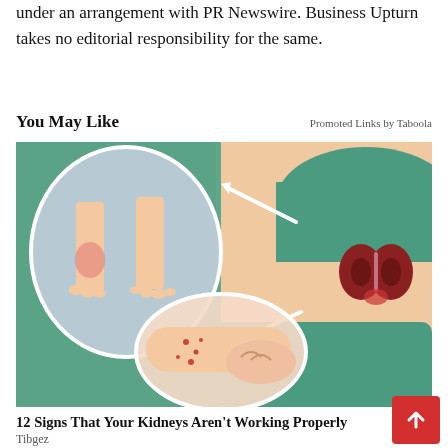under an arrangement with PR Newswire. Business Upturn takes no editorial responsibility for the same.
You May Like
Promoted Links by Taboola
[Figure (illustration): Medical illustration showing swollen ankles/feet circled on left, arrows pointing to kidneys shown on back on right, and a circle showing itchy skin on arm at bottom center. Health advertisement image for kidney disease awareness.]
12 Signs That Your Kidneys Aren't Working Properly
Tibgez